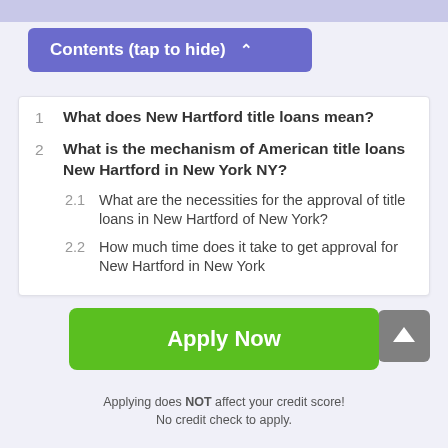Contents (tap to hide) ^
1  What does New Hartford title loans mean?
2  What is the mechanism of American title loans New Hartford in New York NY?
2.1  What are the necessities for the approval of title loans in New Hartford of New York?
2.2  How much time does it take to get approval for New Hartford in New York
Apply Now
Applying does NOT affect your credit score!
No credit check to apply.